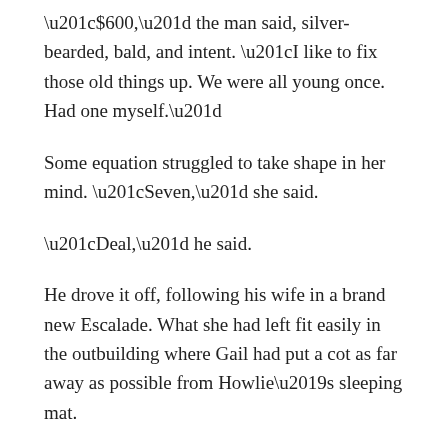“$600,” the man said, silver-bearded, bald, and intent. “I like to fix those old things up. We were all young once. Had one myself.”
Some equation struggled to take shape in her mind. “Seven,” she said.
“Deal,” he said.
He drove it off, following his wife in a brand new Escalade. What she had left fit easily in the outbuilding where Gail had put a cot as far away as possible from Howlie’s sleeping mat.
For three days Howlie stayed clear. During those days Angela scrubbed Gail’s kitchen and bathroom. During the nights she rolled herself twice in her quilt